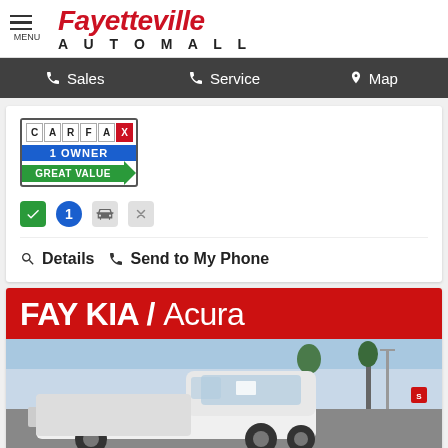[Figure (logo): Fayetteville Automall logo with menu icon]
Sales | Service | Map
[Figure (infographic): CARFAX 1 Owner Great Value badge with small icons row]
Details  Send to My Phone
[Figure (photo): FAY KIA / Acura dealer banner with white pickup truck photo below]